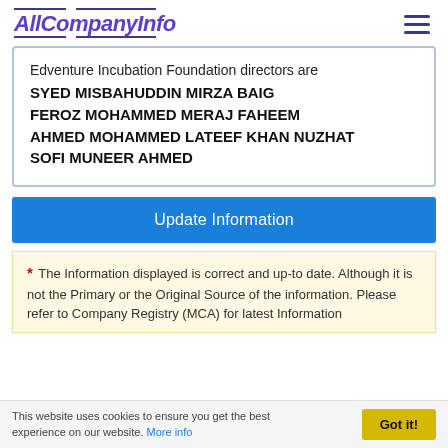AllCompanyInfo
Edventure Incubation Foundation directors are SYED MISBAHUDDIN MIRZA BAIG FEROZ MOHAMMED MERAJ FAHEEM AHMED MOHAMMED LATEEF KHAN NUZHAT SOFI MUNEER AHMED
Update Information
* The Information displayed is correct and up-to date. Although it is not the Primary or the Original Source of the information. Please refer to Company Registry (MCA) for latest Information
This website uses cookies to ensure you get the best experience on our website. More info